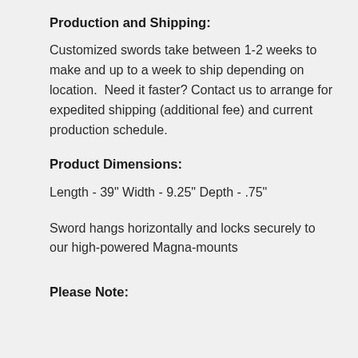Production and Shipping:
Customized swords take between 1-2 weeks to make and up to a week to ship depending on location.  Need it faster? Contact us to arrange for expedited shipping (additional fee) and current production schedule.
Product Dimensions:
Length - 39" Width - 9.25" Depth - .75"
Sword hangs horizontally and locks securely to our high-powered Magna-mounts
Please Note: